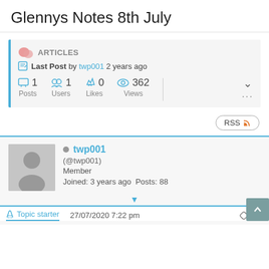Glennys Notes 8th July
ARTICLES
Last Post by twp001 2 years ago
1 Posts  1 Users  0 Likes  362 Views
RSS
twp001
(@twp001)
Member
Joined: 3 years ago  Posts: 88
Topic starter  27/07/2020 7:22 pm